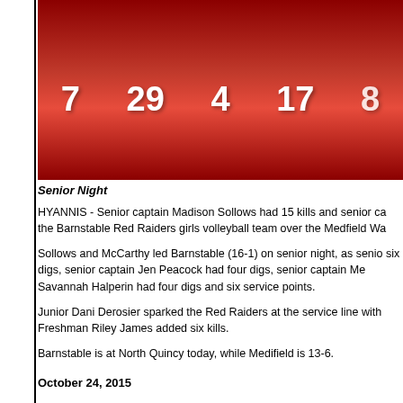[Figure (photo): Team photo of Barnstable Red Raiders girls volleyball players in red jerseys with numbers 7, 29, 4, 17, 8 visible]
Senior Night
HYANNIS - Senior captain Madison Sollows had 15 kills and senior ca the Barnstable Red Raiders girls volleyball team over the Medfield Wa
Sollows and McCarthy led Barnstable (16-1) on senior night, as senio six digs, senior captain Jen Peacock had four digs, senior captain Me Savannah Halperin had four digs and six service points.
Junior Dani Derosier sparked the Red Raiders at the service line with Freshman Riley James added six kills.
Barnstable is at North Quincy today, while Medifield is 13-6.
October 24, 2015
Barnstable Girls Volleyball "Medfield Tournament Ch